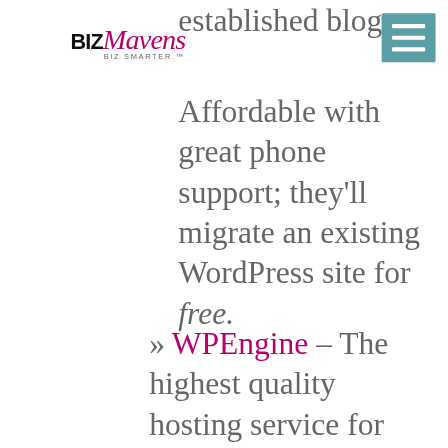[Figure (logo): BizMavens BIZ SMARTER logo with stylized text]
established blog. Affordable with great phone support; they'll migrate an existing WordPress site for free.
» WPEngine – The highest quality hosting service for WordPress. Great